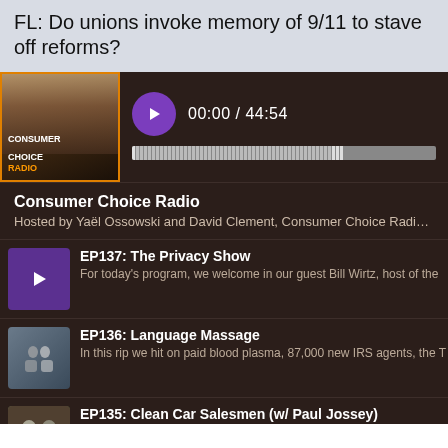FL: Do unions invoke memory of 9/11 to stave off reforms?
[Figure (screenshot): Consumer Choice Radio podcast thumbnail with orange border and text overlay]
00:00 / 44:54
Consumer Choice Radio
Hosted by Yaël Ossowski and David Clement, Consumer Choice Radio is a sy
EP137: The Privacy Show — For today's program, we welcome in our guest Bill Wirtz, host of the
EP136: Language Massage — In this rip we hit on paid blood plasma, 87,000 new IRS agents, the T
EP135: Clean Car Salesmen (w/ Paul Jossey) — Yaël + David back at it, deconstructing the "Inflation Reduction Act"
EP134: Welcome to Atlanta — Hey there, Yaël checking in from Atlanta!  We go over some of the e